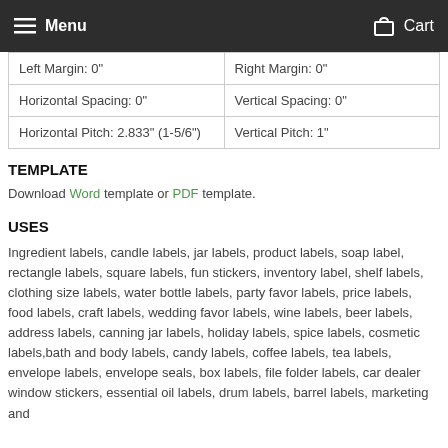Menu   Cart
| Left Margin: 0" | Right Margin: 0" |
| Horizontal Spacing: 0" | Vertical Spacing: 0" |
| Horizontal Pitch: 2.833" (1-5/6") | Vertical Pitch: 1" |
TEMPLATE
Download Word template or PDF template.
USES
Ingredient labels, candle labels, jar labels, product labels, soap label, rectangle labels, square labels, fun stickers, inventory label, shelf labels, clothing size labels, water bottle labels, party favor labels, price labels, food labels, craft labels, wedding favor labels, wine labels, beer labels, address labels, canning jar labels, holiday labels, spice labels, cosmetic labels,bath and body labels, candy labels, coffee labels, tea labels, envelope labels, envelope seals, box labels, file folder labels, car dealer window stickers, essential oil labels, drum labels, barrel labels, marketing and